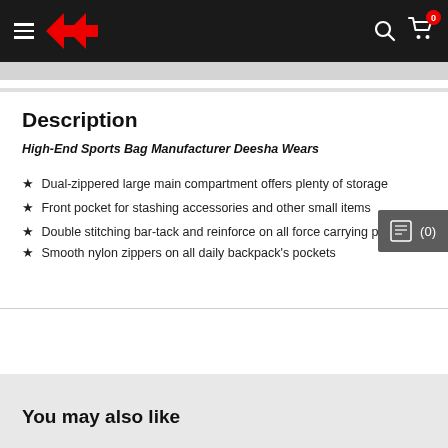Navigation header with hamburger menu, logo, search icon, and cart (0)
Description
High-End Sports Bag Manufacturer Deesha Wears
Dual-zippered large main compartment offers plenty of storage
Front pocket for stashing accessories and other small items
Double stitching bar-tack and reinforce on all force carrying points
Smooth nylon zippers on all daily backpack's pockets
You may also like